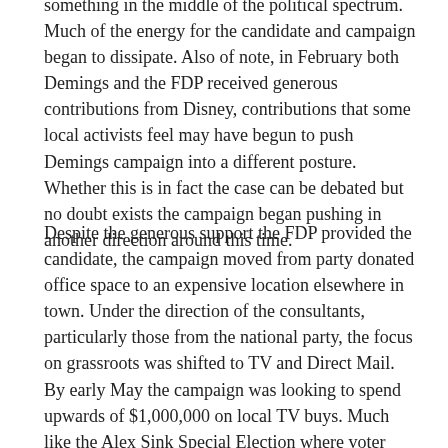something in the middle of the political spectrum. Much of the energy for the candidate and campaign began to dissipate. Also of note, in February both Demings and the FDP received generous contributions from Disney, contributions that some local activists feel may have begun to push Demings campaign into a different posture. Whether this is in fact the case can be debated but no doubt exists the campaign began pushing in another direction around this time.
Despite the generous support the FDP provided the candidate, the campaign moved from party donated office space to an expensive location elsewhere in town. Under the direction of the consultants, particularly those from the national party, the focus on grassroots was shifted to TV and Direct Mail. By early May the campaign was looking to spend upwards of $1,000,000 on local TV buys. Much like the Alex Sink Special Election where voter turnout and activation would be a key, this election with an August Primary would have to be a turnout war. But the national consultants felt that massive and largely untargeted TV buys in a media market that stretches from The Villages to Palm Bay and from Celebration to Flagler Beach